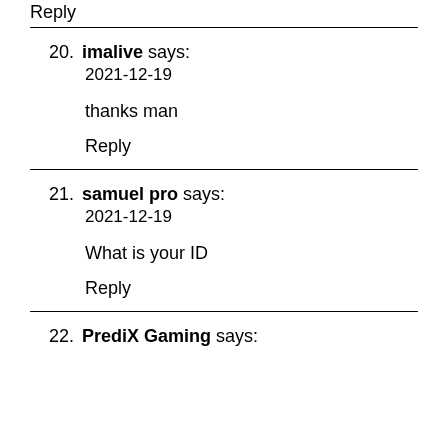Reply
20. imalive says:
2021-12-19

thanks man

Reply
21. samuel pro says:
2021-12-19

What is your ID

Reply
22. PrediX Gaming says: